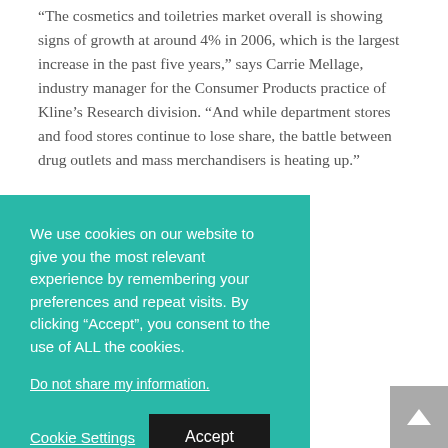“The cosmetics and toiletries market overall is showing signs of growth at around 4% in 2006, which is the largest increase in the past five years,” says Carrie Mellage, industry manager for the Consumer Products practice of Kline’s Research division. “And while department stores and food stores continue to lose share, the battle between drug outlets and mass merchandisers is heating up.”
[partially obscured text about study, claimed just cosmetics and share enjoyed Wal-Mart.]
[partially obscured text about the push for a organic products which are now throughout the or to provide]
[Figure (other): Cookie consent banner overlay with teal/green background. Text reads: 'We use cookies on our website to give you the most relevant experience by remembering your preferences and repeat visits. By clicking “Accept”, you consent to the use of ALL the cookies.' Link: 'Do not share my information.' Buttons: 'Cookie Settings' and 'Accept'.]